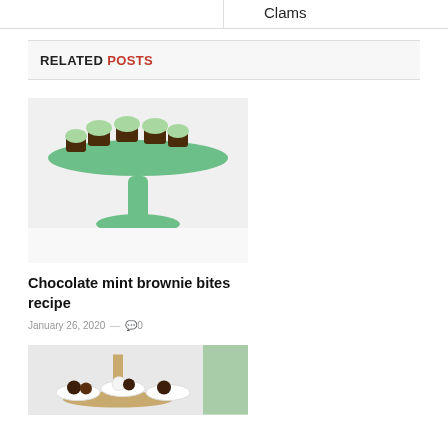Clams
RELATED POSTS
[Figure (photo): Chocolate mint brownie bites displayed on a green cake stand]
Chocolate mint brownie bites recipe
January 26, 2020  —  0
[Figure (photo): Chocolate truffles or cake pops in small white bowls on a tiered wooden stand with green plants in background]